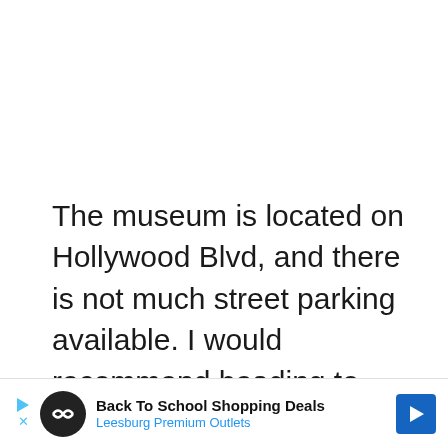The museum is located on Hollywood Blvd, and there is not much street parking available. I would recommend heading to Hollywood and Highland, where there is a big parking lot under the mall. This is a great place to park and to explore all that Hollywood Blvd has to offer. You can walk to the m
[Figure (infographic): Advertisement banner: Back To School Shopping Deals at Leesburg Premium Outlets with circular logo and blue arrow icon]